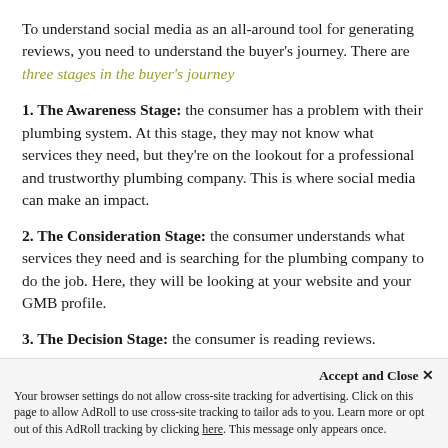To understand social media as an all-around tool for generating reviews, you need to understand the buyer's journey. There are three stages in the buyer's journey
1. The Awareness Stage: the consumer has a problem with their plumbing system. At this stage, they may not know what services they need, but they're on the lookout for a professional and trustworthy plumbing company. This is where social media can make an impact.
2. The Consideration Stage: the consumer understands what services they need and is searching for the plumbing company to do the job. Here, they will be looking at your website and your GMB profile.
3. The Decision Stage: the consumer is reading reviews.
Accept and Close ✕ Your browser settings do not allow cross-site tracking for advertising. Click on this page to allow AdRoll to use cross-site tracking to tailor ads to you. Learn more or opt out of this AdRoll tracking by clicking here. This message only appears once.